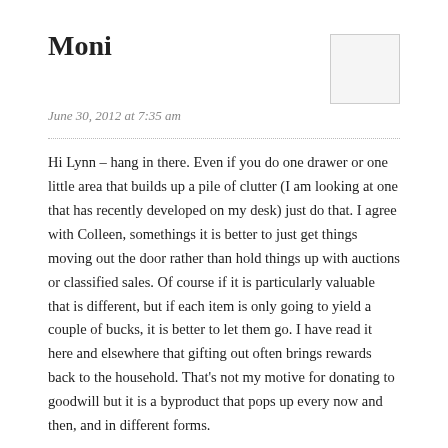Moni
June 30, 2012 at 7:35 am
[Figure (other): Avatar placeholder box, empty white/light gray rectangle with border]
Hi Lynn – hang in there. Even if you do one drawer or one little area that builds up a pile of clutter (I am looking at one that has recently developed on my desk) just do that. I agree with Colleen, somethings it is better to just get things moving out the door rather than hold things up with auctions or classified sales. Of course if it is particularly valuable that is different, but if each item is only going to yield a couple of bucks, it is better to let them go. I have read it here and elsewhere that gifting out often brings rewards back to the household. That's not my motive for donating to goodwill but it is a byproduct that pops up every now and then, and in different forms.